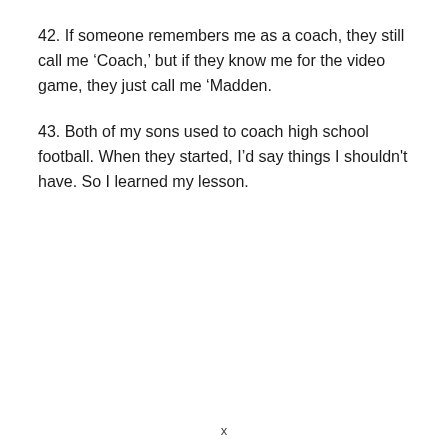42. If someone remembers me as a coach, they still call me ‘Coach,’ but if they know me for the video game, they just call me ‘Madden.
43. Both of my sons used to coach high school football. When they started, I’d say things I shouldn’t have. So I learned my lesson.
x